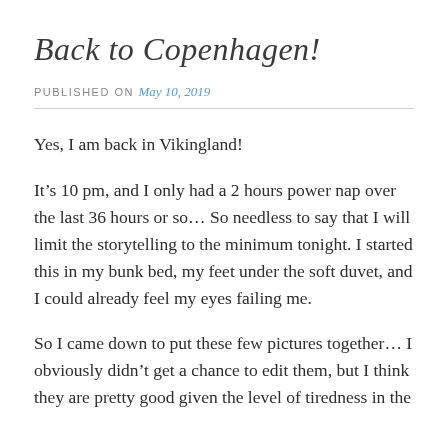Back to Copenhagen!
PUBLISHED ON May 10, 2019
Yes, I am back in Vikingland!
It’s 10 pm, and I only had a 2 hours power nap over the last 36 hours or so… So needless to say that I will limit the storytelling to the minimum tonight. I started this in my bunk bed, my feet under the soft duvet, and I could already feel my eyes failing me.
So I came down to put these few pictures together… I obviously didn’t get a chance to edit them, but I think they are pretty good given the level of tiredness in the